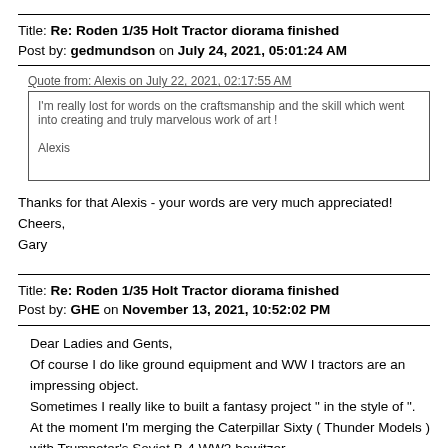Title: Re: Roden 1/35 Holt Tractor diorama finished
Post by: gedmundson on July 24, 2021, 05:01:24 AM
Quote from: Alexis on July 22, 2021, 02:17:55 AM
I'm really lost for words on the craftsmanship and the skill which went into creating and truly marvelous work of art !

Alexis
Thanks for that Alexis - your words are very much appreciated!
Cheers,
Gary
Title: Re: Roden 1/35 Holt Tractor diorama finished
Post by: GHE on November 13, 2021, 10:52:02 PM
Dear Ladies and Gents,
Of course I do like ground equipment and WW I tractors are an impressing object.
Sometimes I really like to built a fantasy project " in the style of ".
At the moment I'm merging the Caterpillar Sixty ( Thunder Models ) with Trumpeter's Soviet B-4 WW2 howitzer.
The Cat was issued in 1919 so it's looks still are perfect for the year 1918.
The howitzers carriage back part is added to the Cat , the big